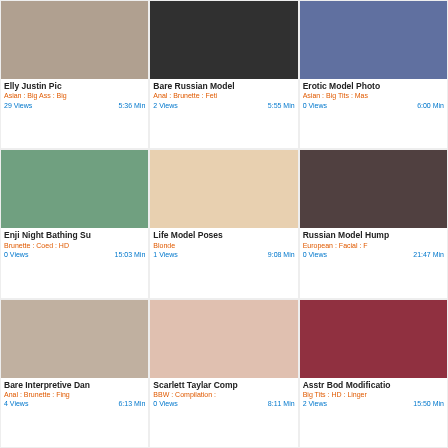[Figure (photo): Thumbnail image for Elly Justin Pic]
Elly Justin Pic
Asian : Big Ass : Big
29 Views   5:36 Min
[Figure (photo): Thumbnail image for Bare Russian Model]
Bare Russian Model
Anal : Brunette : Feti
2 Views   5:55 Min
[Figure (photo): Thumbnail image for Erotic Model Photo]
Erotic Model Photo
Asian : Big Tits : Mas
0 Views   6:00 Min
[Figure (photo): Thumbnail image for Enji Night Bathing Su]
Enji Night Bathing Su
Brunette : Coed : HD
0 Views   15:03 Min
[Figure (photo): Thumbnail image for Life Model Poses]
Life Model Poses
Blonde
1 Views   9:08 Min
[Figure (photo): Thumbnail image for Russian Model Hump]
Russian Model Hump
European : Facial : F
0 Views   21:47 Min
[Figure (photo): Thumbnail image for Bare Interpretive Dan]
Bare Interpretive Dan
Anal : Brunette : Fing
4 Views   6:13 Min
[Figure (photo): Thumbnail image for Scarlett Taylar Comp]
Scarlett Taylar Comp
BBW : Compilation :
0 Views   8:11 Min
[Figure (photo): Thumbnail image for Asstr Bod Modificatio]
Asstr Bod Modificatio
Big Tits : HD : Linger
2 Views   15:50 Min